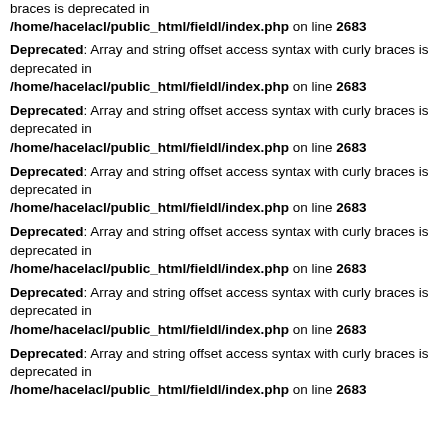braces is deprecated in /home/hacelacl/public_html/fieldl/index.php on line 2683
Deprecated: Array and string offset access syntax with curly braces is deprecated in /home/hacelacl/public_html/fieldl/index.php on line 2683
Deprecated: Array and string offset access syntax with curly braces is deprecated in /home/hacelacl/public_html/fieldl/index.php on line 2683
Deprecated: Array and string offset access syntax with curly braces is deprecated in /home/hacelacl/public_html/fieldl/index.php on line 2683
Deprecated: Array and string offset access syntax with curly braces is deprecated in /home/hacelacl/public_html/fieldl/index.php on line 2683
Deprecated: Array and string offset access syntax with curly braces is deprecated in /home/hacelacl/public_html/fieldl/index.php on line 2683
Deprecated: Array and string offset access syntax with curly braces is deprecated in /home/hacelacl/public_html/fieldl/index.php on line 2683